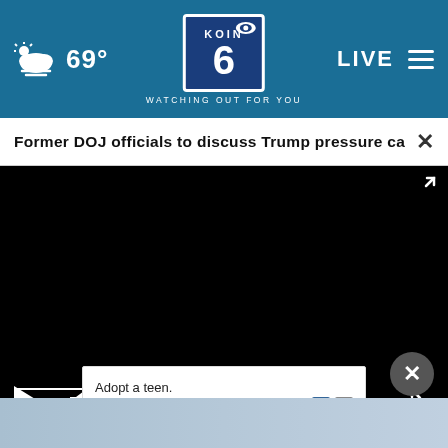69° KOIN 6 CBS WATCHING OUT FOR YOU LIVE
Former DOJ officials to discuss Trump pressure ca...
[Figure (screenshot): Black video player area with play button, mute button, fullscreen icon, and progress bar outline]
Adopt a teen. You can't imagine the reward.
[Figure (photo): Bottom strip showing partial news thumbnail image]